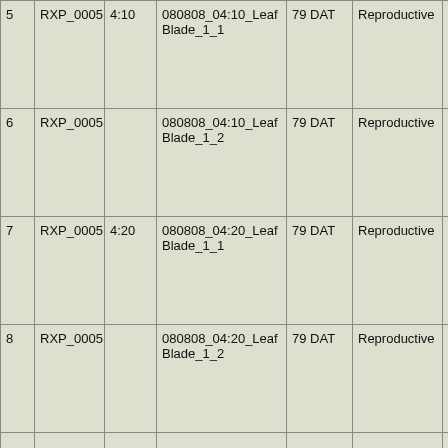| 5 | RXP_0005 | 4:10 | 080808_04:10_Leaf Blade_1_1 | 79 DAT | Reproductive | 4:10 | 16 |
| 6 | RXP_0005 |  | 080808_04:10_Leaf Blade_1_2 | 79 DAT | Reproductive | 4:10 | 16 |
| 7 | RXP_0005 | 4:20 | 080808_04:20_Leaf Blade_1_1 | 79 DAT | Reproductive | 4:20 | 16 |
| 8 | RXP_0005 |  | 080808_04:20_Leaf Blade_1_2 | 79 DAT | Reproductive | 4:20 | 16 |
|  |  |  |  |  |  |  |  |